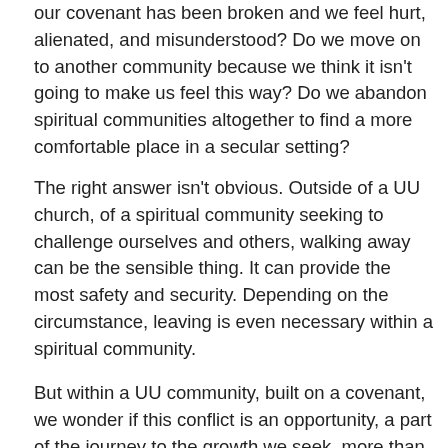our covenant has been broken and we feel hurt, alienated, and misunderstood? Do we move on to another community because we think it isn't going to make us feel this way? Do we abandon spiritual communities altogether to find a more comfortable place in a secular setting?
The right answer isn't obvious. Outside of a UU church, of a spiritual community seeking to challenge ourselves and others, walking away can be the sensible thing. It can provide the most safety and security. Depending on the circumstance, leaving is even necessary within a spiritual community.
But within a UU community, built on a covenant, we wonder if this conflict is an opportunity, a part of the journey to the growth we seek, more than a mark of misalignment. A chance to practice expressing our true selves and feelings to each other with the expectation of being listened to and heard. An opportunity to share our perspectives but also to apologize from a deep place, to make room in our hearts to allow our opinions and